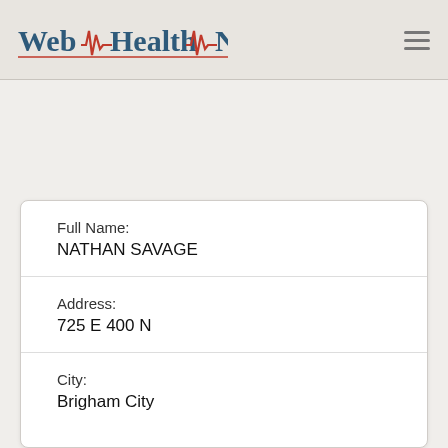Web Health Network
Full Name:
NATHAN SAVAGE
Address:
725 E 400 N
City:
Brigham City